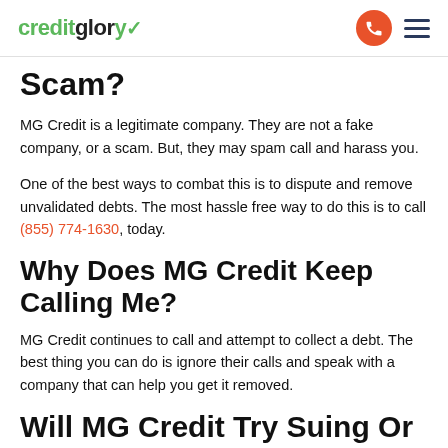creditglory (logo) | phone icon | hamburger menu
Scam?
MG Credit is a legitimate company. They are not a fake company, or a scam. But, they may spam call and harass you.
One of the best ways to combat this is to dispute and remove unvalidated debts. The most hassle free way to do this is to call (855) 774-1630, today.
Why Does MG Credit Keep Calling Me?
MG Credit continues to call and attempt to collect a debt. The best thing you can do is ignore their calls and speak with a company that can help you get it removed.
Will MG Credit Try Suing Or